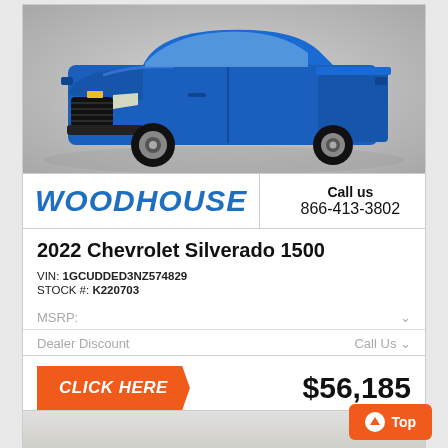[Figure (photo): Blue 2022 Chevrolet Silverado 1500 pickup truck on grey gradient background, front 3/4 view]
WOODHOUSE
Call us
866-413-3802
2022 Chevrolet Silverado 1500
VIN: 1GCUDDED3NZ574829
STOCK #: K220703
MSRP:
Dealer Discount
Call Us
CLICK HERE
$56,185